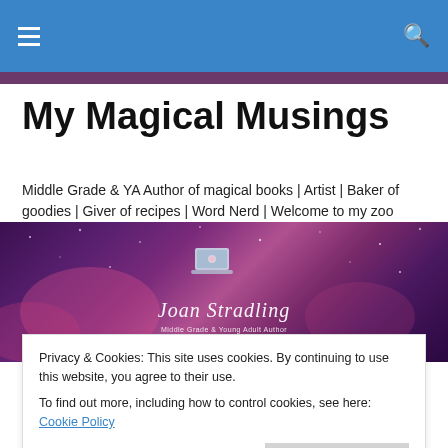Navigation bar with hamburger menu and search icon
My Magical Musings
Middle Grade & YA Author of magical books | Artist | Baker of goodies | Giver of recipes | Word Nerd | Welcome to my zoo
[Figure (illustration): Purple/magenta banner with starry background featuring 'Joan Stradling - Middle Grade & Young Adult Author' text in italic script with a laptop illustration above]
Privacy & Cookies: This site uses cookies. By continuing to use this website, you agree to their use.
To find out more, including how to control cookies, see here: Cookie Policy
1. The kids have been sick most of the week. This means I